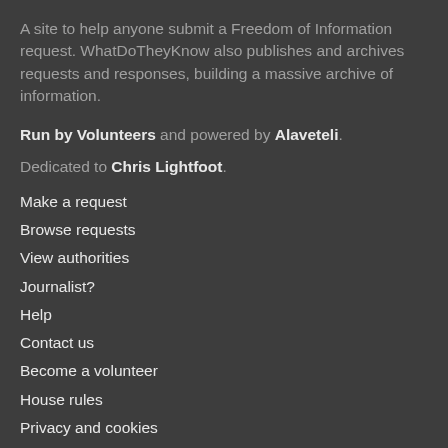A site to help anyone submit a Freedom of Information request. WhatDoTheyKnow also publishes and archives requests and responses, building a massive archive of information.
Run by Volunteers and powered by Alaveteli.
Dedicated to Chris Lightfoot.
Make a request
Browse requests
View authorities
Journalist?
Help
Contact us
Become a volunteer
House rules
Privacy and cookies
API